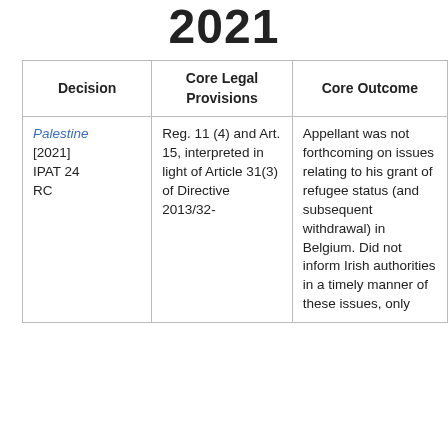2021
| Decision | Core Legal Provisions | Core Outcome |
| --- | --- | --- |
| Palestine [2021] IPAT 24 RC | Reg. 11 (4) and Art. 15, interpreted in light of Article 31(3) of Directive 2013/32- | Appellant was not forthcoming on issues relating to his grant of refugee status (and subsequent withdrawal) in Belgium. Did not inform Irish authorities in a timely manner of these issues, only |